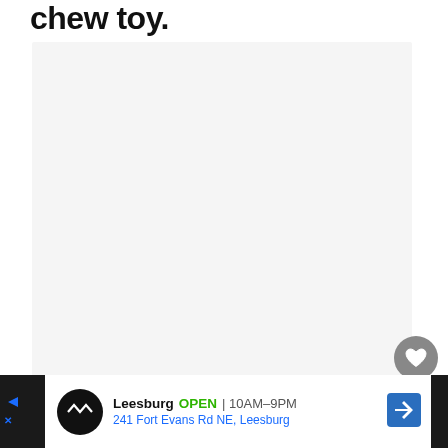chew toy.
[Figure (photo): Large light gray rectangular placeholder image area]
[Figure (other): Heart/favorite button (gray circle with heart icon) and share button (white circle with share icon)]
[Figure (other): Advertisement bar at bottom: Leesburg OPEN 10AM-9PM, 241 Fort Evans Rd NE, Leesburg with logo and navigation arrow]